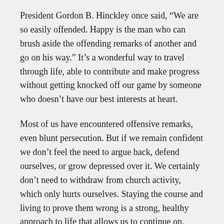President Gordon B. Hinckley once said, “We are so easily offended. Happy is the man who can brush aside the offending remarks of another and go on his way.” It’s a wonderful way to travel through life, able to contribute and make progress without getting knocked off our game by someone who doesn’t have our best interests at heart.
Most of us have encountered offensive remarks, even blunt persecution. But if we remain confident we don’t feel the need to argue back, defend ourselves, or grow depressed over it. We certainly don’t need to withdraw from church activity, which only hurts ourselves. Staying the course and living to prove them wrong is a strong, healthy approach to life that allows us to continue on, unharmed by our enemies.